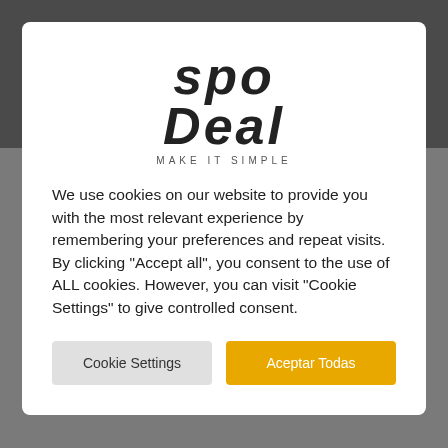[Figure (logo): SpoDeal logo in header bar with 'MAKE IT SIMPLE' tagline, shown in grey on dark background]
[Figure (logo): SpoDeal logo in modal dialog with 'MAKE IT SIMPLE' tagline, shown in black on white background]
We use cookies on our website to provide you with the most relevant experience by remembering your preferences and repeat visits. By clicking "Accept all", you consent to the use of ALL cookies. However, you can visit "Cookie Settings" to give controlled consent.
Cookie Settings
Aceptar Todas